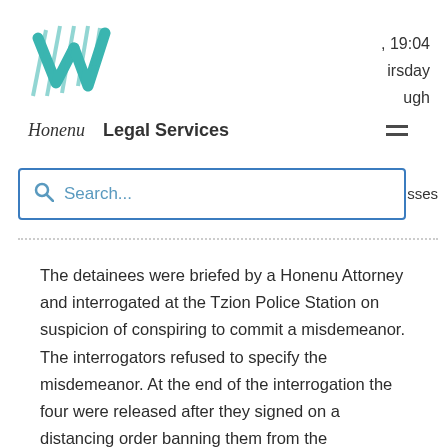[Figure (logo): Honenu teal striped checkmark logo]
, 19:04
irsday
ugh
Honenu   Legal Services
sses
The detainees were briefed by a Honenu Attorney and interrogated at the Tzion Police Station on suspicion of conspiring to commit a misdemeanor. The interrogators refused to specify the misdemeanor. At the end of the interrogation the four were released after they signed on a distancing order banning them from the Machaneh